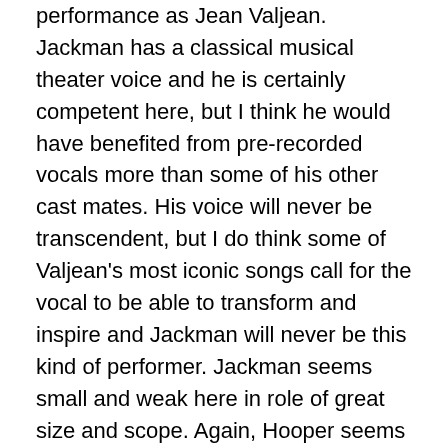performance as Jean Valjean.  Jackman has a classical musical theater voice and he is certainly competent here, but I think he would have benefited from pre-recorded vocals more than some of his other cast mates.  His voice will never be transcendent, but I do think some of Valjean's most iconic songs call for the vocal to be able to transform and inspire and Jackman will never be this kind of performer.  Jackman seems small and weak here in role of great size and scope.  Again, Hooper seems all over this and the oft choices to play down moments that should be played up, but somewhere in the casting and performance, Hugh Jackman feels a bit out of place.
5. Les Misérables is a movie wearing a motion picture's story and material that despite some of the best individual song performance moments in movie musical history (Anne Hathaway!!!), stalls in Tom